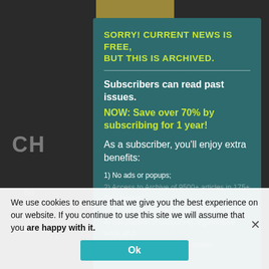[Figure (screenshot): Dark background page with partially visible headline text 'CH... NG' and body text about business planning]
SORRY! CURRENT NEWS IS FREE, BUT THIS IS ARCHIVED.
Subscribers can read past issues. NOW: Save over 70% by subscribing for 1 year!
As a subscriber, you'll enjoy extra benefits:
1) No ads or popups;
2) Access to Archive of 9500+ articles in 175+ Past Issues;
3) Ability to download all articles as PDF;
4) Satisfaction of supporting regenerative work; and
5) Email notification of new issues (2X/month). And More!
We use cookies to ensure that we give you the best experience on our website. If you continue to use this site we will assume that you are happy with it.
Ok